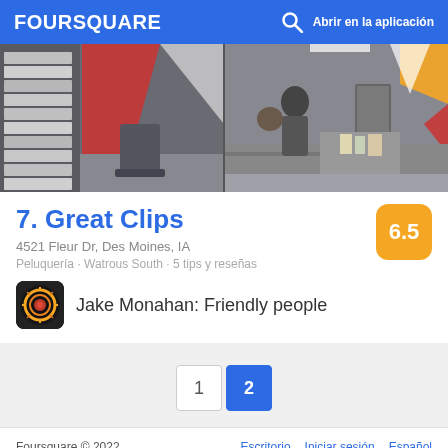FOURSQUARE — Abrir en la aplicación
[Figure (photo): Interior photos of Great Clips hair salon showing styling stations, products on shelves, colorful wall decorations, and stylists working with customers]
7. Great Clips
4521 Fleur Dr, Des Moines, IA
Peluquería · Watrous South · 5 tips y reseñas
Jake Monahan: Friendly people
1
2
Foursquare © 2022   Escritorio   Iniciar sesión   Español